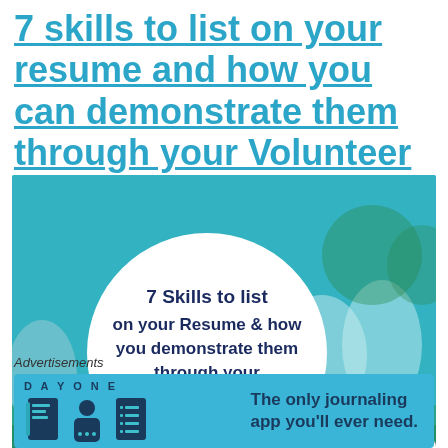7 skills to list on your resume and how you can demonstrate them through your Volunteer Work
[Figure (illustration): Photo of people sitting on grass in a group with a teal/cyan overlay. In the foreground-left is a white circle containing bold dark navy text: '7 Skills to list on your Resume & how you demonstrate them through your Volunteer Work']
Advertisements
[Figure (screenshot): Advertisement banner for DAY ONE journaling app on a blue background with app icons and text: 'The only journaling app you'll ever need.']